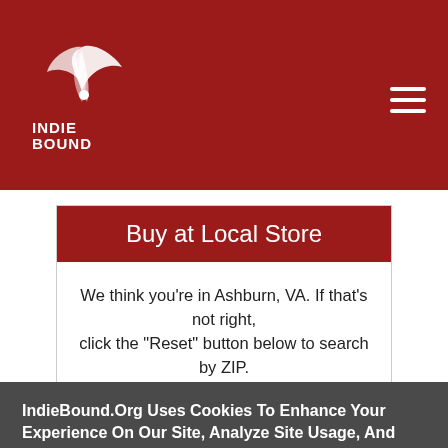[Figure (logo): IndieBound logo with stylized bird/quill graphic and text INDIE BOUND on dark red header background]
Buy at Local Store
We think you’re in Ashburn, VA. If that’s not right, click the "Reset" button below to search by ZIP.
IndieBound.Org Uses Cookies To Enhance Your Experience On Our Site, Analyze Site Usage, And Assist In Our Marketing Efforts. By Clicking Accept, You Agree To The Storing Of Cookies On Your Device. View Our Cookie Policy.
Give me more info
Accept all Cookies